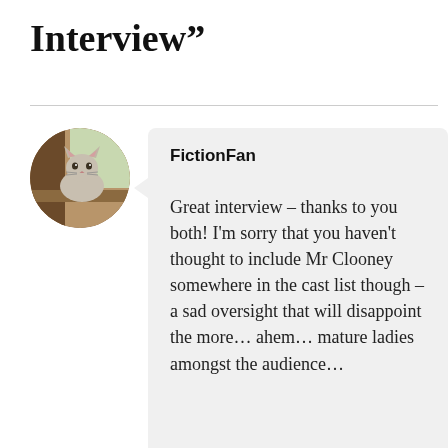Interview”
[Figure (photo): Circular avatar image of a cat sitting on a windowsill, brown and grey tones]
FictionFan
Great interview – thanks to you both! I’m sorry that you haven’t thought to include Mr Clooney somewhere in the cast list though – a sad oversight that will disappoint the more… ahem… mature ladies amongst the audience…